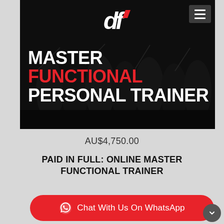[Figure (photo): Dark-toned group fitness photo with people posing together in a gym, overlaid with large bold text reading MASTER FUNCTIONAL PERSONAL TRAINER, with a logo at the top center and hamburger menu icon at top right]
AU$4,750.00
PAID IN FULL: ONLINE MASTER FUNCTIONAL TRAINER
Chat With Us On WhatsApp